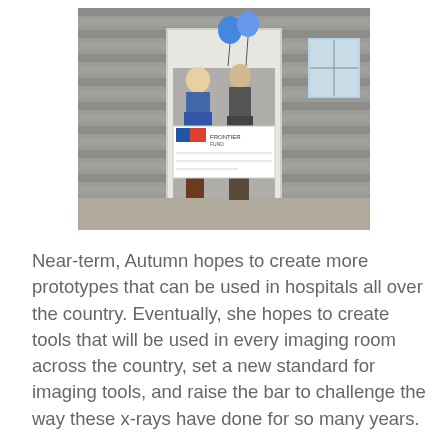[Figure (photo): Two people standing in front of a wooden building holding a large ceremonial check from Frontier Fund. Blue balloons are visible above them.]
Near-term, Autumn hopes to create more prototypes that can be used in hospitals all over the country. Eventually, she hopes to create tools that will be used in every imaging room across the country, set a new standard for imaging tools, and raise the bar to challenge the way these x-rays have done for so many years.